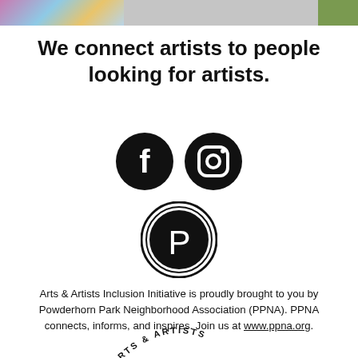[Figure (photo): Photo strip at top: left portion shows colorful figures/artwork, center is light gray, right is green/nature]
We connect artists to people looking for artists.
[Figure (illustration): Facebook and Instagram social media icons (black circles with white logos) side by side]
[Figure (logo): Pinterest-style logo: black circle with double ring border and stylized P in center]
Arts & Artists Inclusion Initiative is proudly brought to you by Powderhorn Park Neighborhood Association (PPNA).  PPNA connects, informs, and inspires.  Join us at www.ppna.org.
[Figure (logo): Arts & Artists logo at bottom: curved text 'ARTS & ARTISTS' above large 'AI' letters, partially visible]